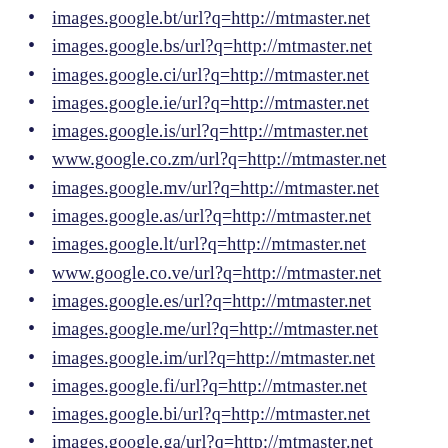images.google.bt/url?q=http://mtmaster.net
images.google.bs/url?q=http://mtmaster.net
images.google.ci/url?q=http://mtmaster.net
images.google.ie/url?q=http://mtmaster.net
images.google.is/url?q=http://mtmaster.net
www.google.co.zm/url?q=http://mtmaster.net
images.google.mv/url?q=http://mtmaster.net
images.google.as/url?q=http://mtmaster.net
images.google.lt/url?q=http://mtmaster.net
www.google.co.ve/url?q=http://mtmaster.net
images.google.es/url?q=http://mtmaster.net
images.google.me/url?q=http://mtmaster.net
images.google.im/url?q=http://mtmaster.net
images.google.fi/url?q=http://mtmaster.net
images.google.bi/url?q=http://mtmaster.net
images.google.ga/url?q=http://mtmaster.net
www.google.co.vi/url?q=http://mtmaster.net
images.google.de/url?q=http://mtmaster.net
images.google.kz/url?q=http://mtmaster.net